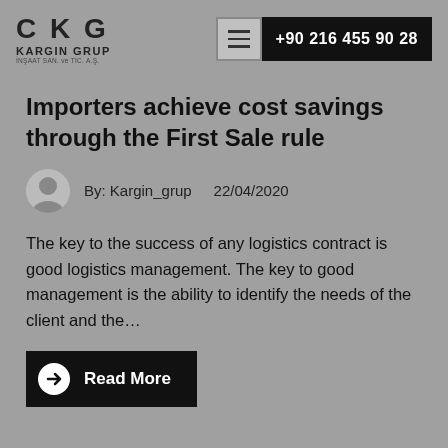[Figure (logo): CKG Kargin Grup logo with text: CKG, KARGIN GRUP, INSAAT SAN. ve TIC. A.S.]
Importers achieve cost savings through the First Sale rule
By: Kargin_grup    22/04/2020
The key to the success of any logistics contract is good logistics management. The key to good management is the ability to identify the needs of the client and the...
Read More